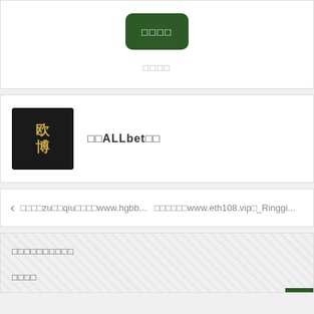[Figure (illustration): Dark green rounded rectangle button with white Chinese characters]
□□□□
[Figure (photo): Author avatar: Chinese calligraphy-style text on dark background]
□□ALLbet□□
< □□□□zu□□qiu□□□□www.hgbb... □□□□□□www.eth108.vip□_Ringgi...
□□□□□□□□□□
□□□□